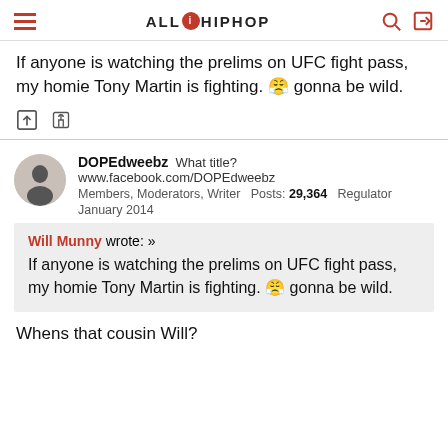ALL HIP HOP
If anyone is watching the prelims on UFC fight pass, my homie Tony Martin is fighting. 😤 gonna be wild.
DOPEdweebz  What title?  www.facebook.com/DOPEdweebz
Members, Moderators, Writer  Posts: 29,364  Regulator
January 2014
Will Munny wrote: »
If anyone is watching the prelims on UFC fight pass, my homie Tony Martin is fighting. 😤 gonna be wild.
Whens that cousin Will?